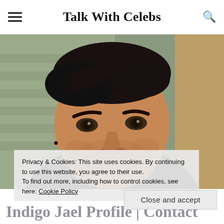Talk With Celebs
[Figure (photo): Close-up portrait of a young man with dark hair swept forward, dark eyes, small black ear stud, wearing a dark jacket. Background shows blurred green/grey panels.]
Privacy & Cookies: This site uses cookies. By continuing to use this website, you agree to their use.
To find out more, including how to control cookies, see here: Cookie Policy
Close and accept
Indigo Jael Profile | Contact